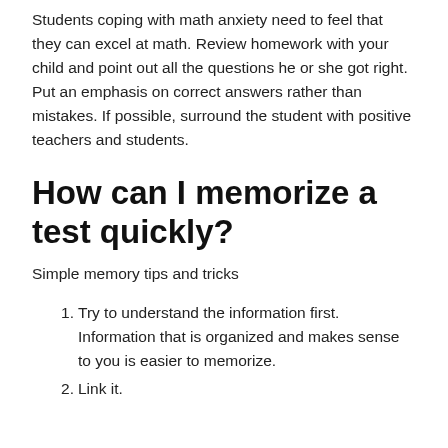Students coping with math anxiety need to feel that they can excel at math. Review homework with your child and point out all the questions he or she got right. Put an emphasis on correct answers rather than mistakes. If possible, surround the student with positive teachers and students.
How can I memorize a test quickly?
Simple memory tips and tricks
1. Try to understand the information first. Information that is organized and makes sense to you is easier to memorize.
2. Link it.